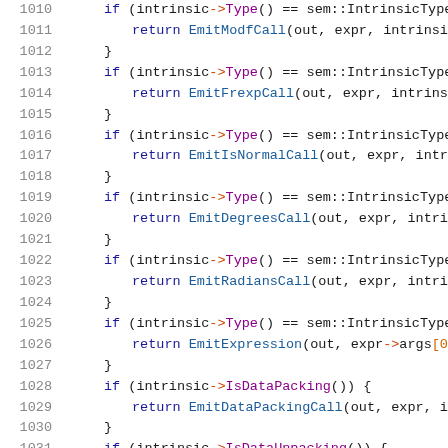[Figure (screenshot): Source code screenshot showing C++ code lines 1010-1031 with syntax highlighting. Lines contain if statements checking intrinsic->Type() == sem::IntrinsicType:: and returning various Emit* function calls.]